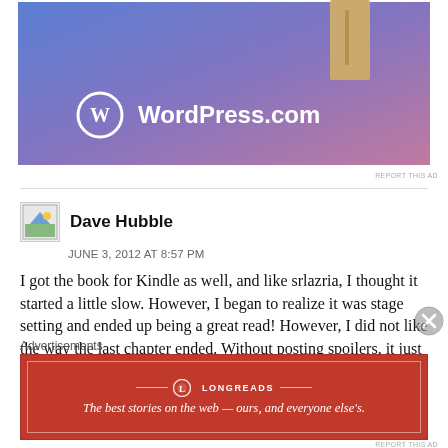[Figure (screenshot): WordPress.com advertisement banner with blue-purple gradient background and WordPress logo]
REPORT THIS AD
Dave Hubble
JUNE 3, 2012 AT 8:57 PM
I got the book for Kindle as well, and like srlazria, I thought it started a little slow. However, I began to realize it was stage setting and ended up being a great read! However, I did not like the way the last chapter ended. Without posting spoilers, it just seemed too easy. Don't think that is going to stop me from getting the next book though!
Advertisements
[Figure (screenshot): Longreads advertisement in red: 'The best stories on the web — ours, and everyone else's.']
REPORT THIS AD